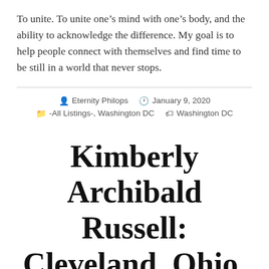To unite. To unite one’s mind with one’s body, and the ability to acknowledge the difference. My goal is to help people connect with themselves and find time to be still in a world that never stops.
Eternity Philops  January 9, 2020  -All Listings-, Washington DC  Washington DC
Kimberly Archibald Russell: Cleveland, Ohio, USA